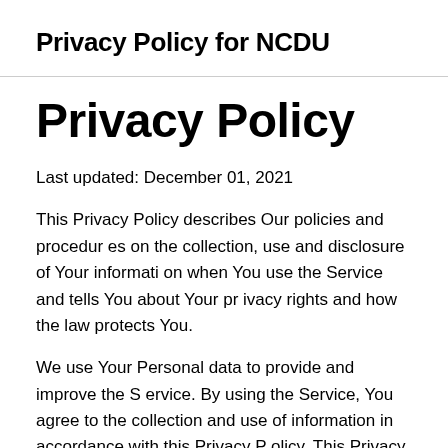Privacy Policy for NCDU
Privacy Policy
Last updated: December 01, 2021
This Privacy Policy describes Our policies and procedures on the collection, use and disclosure of Your information when You use the Service and tells You about Your privacy rights and how the law protects You.
We use Your Personal data to provide and improve the Service. By using the Service, You agree to the collection and use of information in accordance with this Privacy Policy. This Privacy Policy has been created with the help of